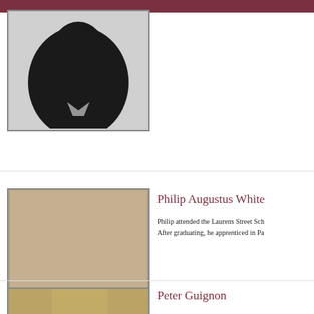[Figure (photo): Cropped portrait photo at top, dark silhouette shape visible, appears to be a person's head/shoulders in very dark tones]
[Figure (photo): Oval-framed sepia photograph of Philip Augustus White, a bearded middle-aged man in 19th century attire with a jacket and bow tie]
Philip Augustus White
Philip attended the Laurens Street Sch... After graduating, he apprenticed in Pa...
Peter Guignon
[Figure (photo): Partial view of another portrait photo at the bottom of the page, cropped]